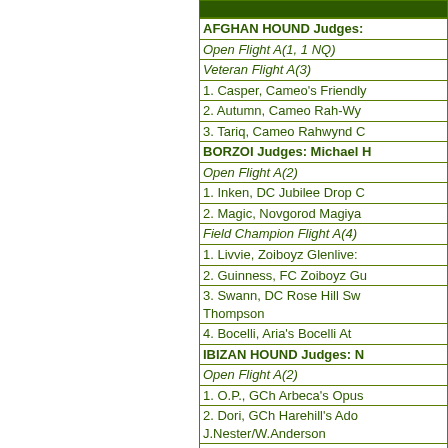| Results |
| --- |
| AFGHAN HOUND Judges: |
| Open Flight A(1, 1 NQ) |
| Veteran Flight A(3) |
| 1. Casper, Cameo's Friendly |
| 2. Autumn, Cameo Rah-Wy |
| 3. Tariq, Cameo Rahwynd C |
| BORZOI Judges: Michael H |
| Open Flight A(2) |
| 1. Inken, DC Jubilee Drop C |
| 2. Magic, Novgorod Magiya |
| Field Champion Flight A(4) |
| 1. Livvie, Zoiboyz Glenlivec |
| 2. Guinness, FC Zoiboyz Gu |
| 3. Swann, DC Rose Hill Sw Thompson |
| 4. Bocelli, Aria's Bocelli At |
| IBIZAN HOUND Judges: N |
| Open Flight A(2) |
| 1. O.P., GCh Arbeca's Opus |
| 2. Dori, GCh Harehill's Ado J.Nester/W.Anderson |
| IRISH WOLFHOUND Judg |